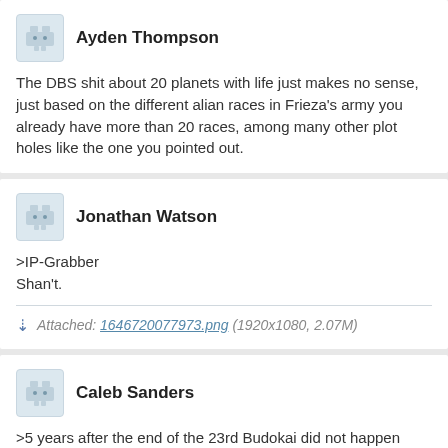Ayden Thompson
The DBS shit about 20 planets with life just makes no sense, just based on the different alian races in Frieza's army you already have more than 20 races, among many other plot holes like the one you pointed out.
Jonathan Watson
>IP-Grabber
Shan't.
Attached: 1646720077973.png (1920x1080, 2.07M)
Caleb Sanders
>5 years after the end of the 23rd Budokai did not happen
>Goku staying on Yadrat for a year and a half did not